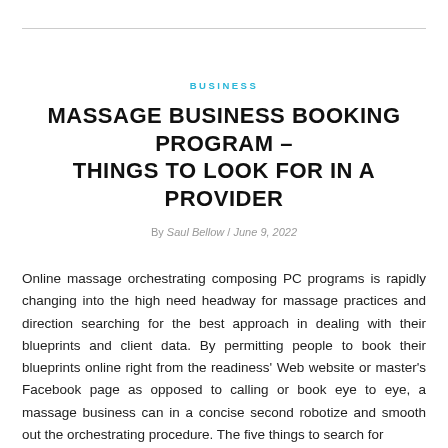BUSINESS
MASSAGE BUSINESS BOOKING PROGRAM – THINGS TO LOOK FOR IN A PROVIDER
By Saul Bellow / June 9, 2022
Online massage orchestrating composing PC programs is rapidly changing into the high need headway for massage practices and direction searching for the best approach in dealing with their blueprints and client data. By permitting people to book their blueprints online right from the readiness' Web website or master's Facebook page as opposed to calling or book eye to eye, a massage business can in a concise second robotize and smooth out the orchestrating procedure. The five things to search for